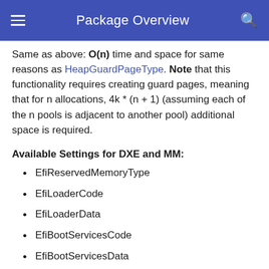Package Overview
Same as above: O(n) time and space for same reasons as HeapGuardPageType. Note that this functionality requires creating guard pages, meaning that for n allocations, 4k * (n + 1) (assuming each of the n pools is adjacent to another pool) additional space is required.
Available Settings for DXE and MM:
EfiReservedMemoryType
EfiLoaderCode
EfiLoaderData
EfiBootServicesCode
EfiBootServicesData
EfiRuntimeServicesCode
EfiRuntimeServicesData